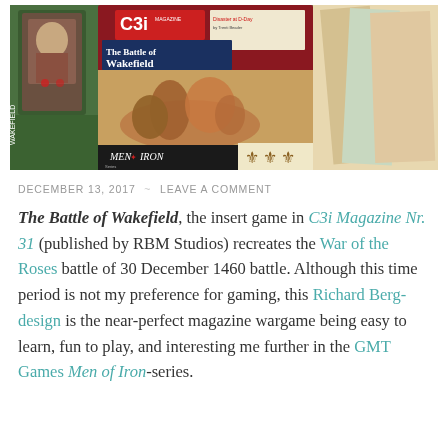[Figure (photo): Photo of C3i Magazine Nr. 31 showing The Battle of Wakefield insert game cover along with other game components spread out]
DECEMBER 13, 2017  ~  LEAVE A COMMENT
The Battle of Wakefield, the insert game in C3i Magazine Nr. 31 (published by RBM Studios) recreates the War of the Roses battle of 30 December 1460 battle. Although this time period is not my preference for gaming, this Richard Berg-design is the near-perfect magazine wargame being easy to learn, fun to play, and interesting me further in the GMT Games Men of Iron-series.